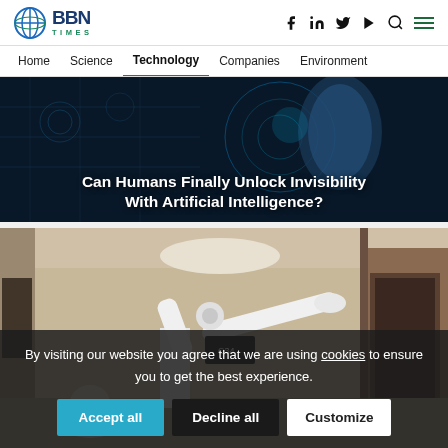BBN Times — Home | Science | Technology | Companies | Environment
[Figure (screenshot): Hero image of glowing digital hand touching a holographic interface with dark blue background. Overlaid title: Can Humans Finally Unlock Invisibility With Artificial Intelligence?]
Can Humans Finally Unlock Invisibility With Artificial Intelligence?
[Figure (photo): Photo of a white robotic arm in a medical/office corridor setting]
By visiting our website you agree that we are using cookies to ensure you to get the best experience.
Accept all | Decline all | Customize